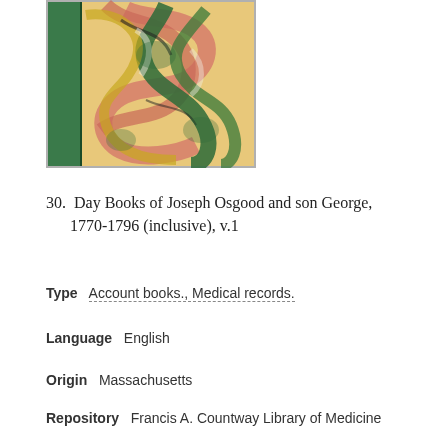[Figure (photo): Photograph of a marbled book cover with green, pink, yellow, and black swirling patterns, with a green spine visible on the left side.]
30.  Day Books of Joseph Osgood and son George, 1770-1796 (inclusive), v.1
Type   Account books., Medical records.
Language   English
Origin   Massachusetts
Repository   Francis A. Countway Library of Medicine
Bookmark   ○